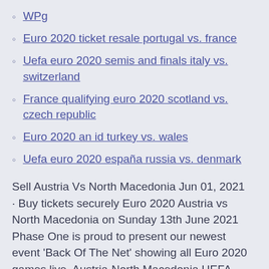WPg
Euro 2020 ticket resale portugal vs. france
Uefa euro 2020 semis and finals italy vs. switzerland
France qualifying euro 2020 scotland vs. czech republic
Euro 2020 an id turkey vs. wales
Uefa euro 2020 españa russia vs. denmark
Sell Austria Vs North Macedonia Jun 01, 2021 · Buy tickets securely Euro 2020 Austria vs North Macedonia on Sunday 13th June 2021 Phase One is proud to present our newest event 'Back Of The Net' showing all Euro 2020 games live. Austria-North Macedonia UEFA EURO 2020 . National Arena Bucharest - Bucharest.